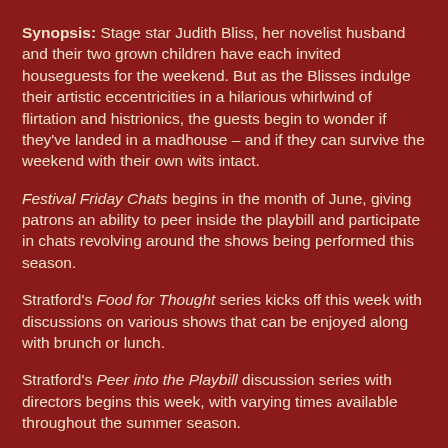Synopsis: Stage star Judith Bliss, her novelist husband and their two grown children have each invited houseguests for the weekend. But as the Blisses indulge their artistic eccentricities in a hilarious whirlwind of flirtation and histrionics, the guests begin to wonder if they've landed in a madhouse – and if they can survive the weekend with their own wits intact.
Festival Friday Chats begins in the month of June, giving patrons an ability to peer inside the playbill and participate in chats revolving around the shows being performed this season.
Stratford's Food for Thought series kicks off this week with discussions on various shows that can be enjoyed along with brunch or lunch.
Stratford's Peer into the Playbill discussion series with directors begins this week, with varying times available throughout the summer season.